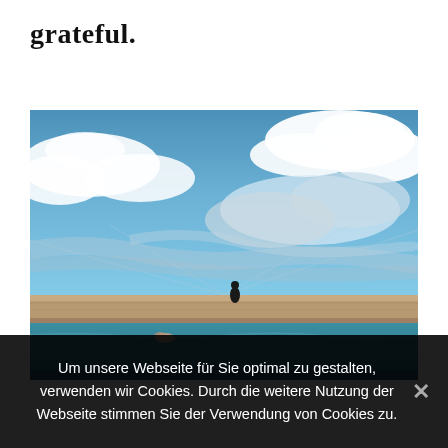grateful.
[Figure (photo): Outdoor pool or harbor with turquoise water, a sandy/stone jetty or wall across the middle, a lone dark figure standing on the wall, another person swimming in the water, with a dramatic blue sky filled with large white clouds in the background.]
Um unsere Webseite für Sie optimal zu gestalten, verwenden wir Cookies. Durch die weitere Nutzung der Webseite stimmen Sie der Verwendung von Cookies zu.